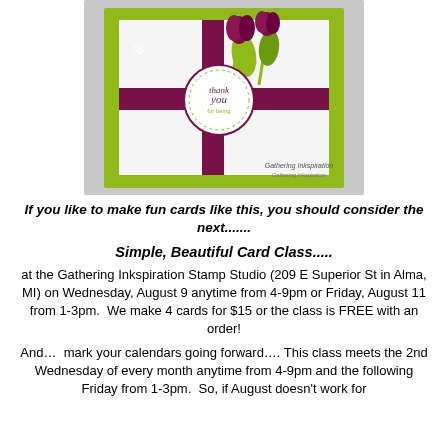[Figure (photo): A handmade greeting card with tulip stamp artwork in deep magenta/burgundy colors on a lime green background, with a circular 'thank you for being' sentiment and ribbon details. Credit text reads 'Gathering Inkspiration'.]
If you like to make fun cards like this, you should consider the next.......
Simple, Beautiful Card Class.....
at the Gathering Inkspiration Stamp Studio (209 E Superior St in Alma, MI) on Wednesday, August 9 anytime from 4-9pm or Friday, August 11 from 1-3pm.  We make 4 cards for $15 or the class is FREE with an order!
And…  mark your calendars going forward…. This class meets the 2nd Wednesday of every month anytime from 4-9pm and the following Friday from 1-3pm.  So, if August doesn't work for